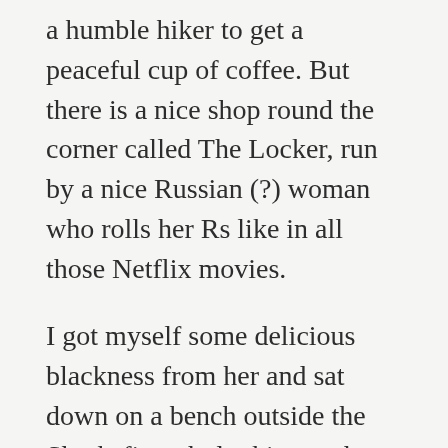a humble hiker to get a peaceful cup of coffee. But there is a nice shop round the corner called The Locker, run by a nice Russian (?) woman who rolls her Rs like in all those Netflix movies.
I got myself some delicious blackness from her and sat down on a bench outside the Sharksfin pub, looking at the colourful boats marooned on the brown by the retreating sea. I had an enjoyable five seconds all by myself before a large, fish-eating family descended on me and crowded me out.